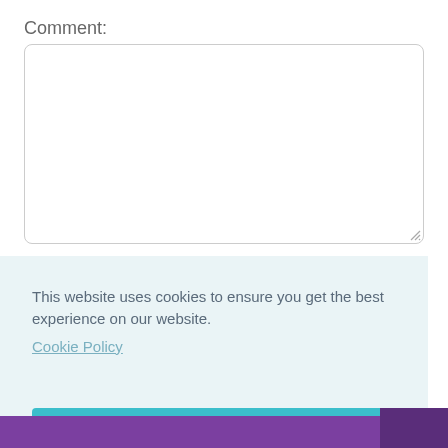Comment:
[Figure (other): Empty textarea input box with rounded corners and resize handle]
This website uses cookies to ensure you get the best experience on our website.
Cookie Policy
Got it!